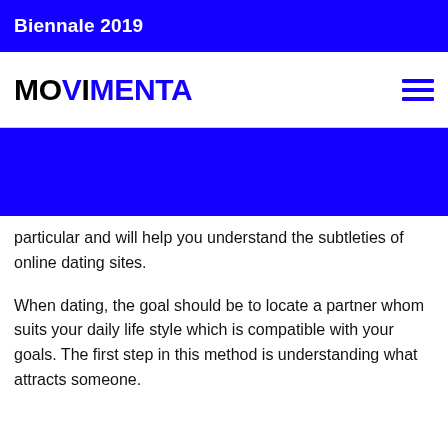Biennale 2019
MOVIMENTA
particular and will help you understand the subtleties of online dating sites.
When dating, the goal should be to locate a partner whom suits your daily life style which is compatible with your goals. The first step in this method is understanding what attracts someone.